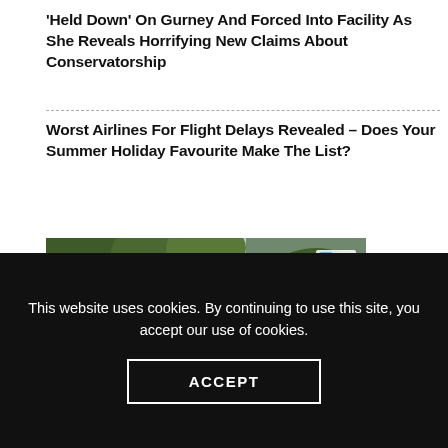'Held Down' On Gurney And Forced Into Facility As She Reveals Horrifying New Claims About Conservatorship
Worst Airlines For Flight Delays Revealed – Does Your Summer Holiday Favourite Make The List?
[Figure (illustration): Advertisement image with orange circle graphic showing 'CHECK AMAZING HOME HACKS AND TIPS' with Balinese temple background and 'Best Homely at Tipco' logo]
This website uses cookies. By continuing to use this site, you accept our use of cookies.
ACCEPT